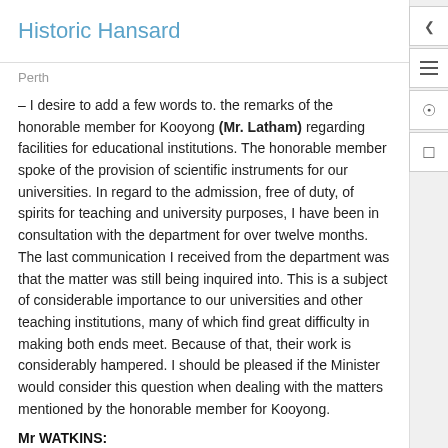Historic Hansard
Perth
– I desire to add a few words to. the remarks of the honorable member for Kooyong (Mr. Latham) regarding facilities for educational institutions. The honorable member spoke of the provision of scientific instruments for our universities. In regard to the admission, free of duty, of spirits for teaching and university purposes, I have been in consultation with the department for over twelve months. The last communication I received from the department was that the matter was still being inquired into. This is a subject of considerable importance to our universities and other teaching institutions, many of which find great difficulty in making both ends meet. Because of that, their work is considerably hampered. I should be pleased if the Minister would consider this question when dealing with the matters mentioned by the honorable member for Kooyong.
Mr WATKINS: